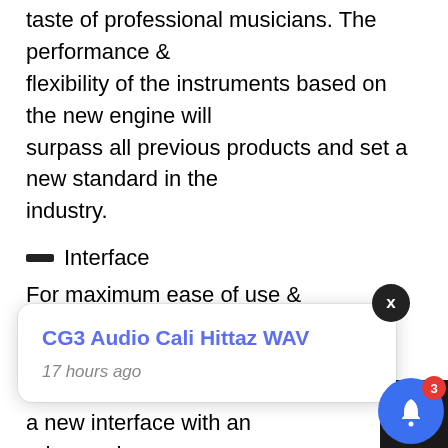taste of professional musicians. The performance & flexibility of the instruments based on the new engine will surpass all previous products and set a new standard in the industry.
Interface
For maximum ease of use & flexible sound customization, we have created a new interface with an advanced system of settings and effects.
Recording
All samples for our instruments are recorded on professional studio
[Figure (other): Notification popup overlay showing 'CG3 Audio Cali Hittaz WAV' with timestamp '17 hours ago', a close (X) button, and a blue bell notification button with badge showing '3']
Compatible